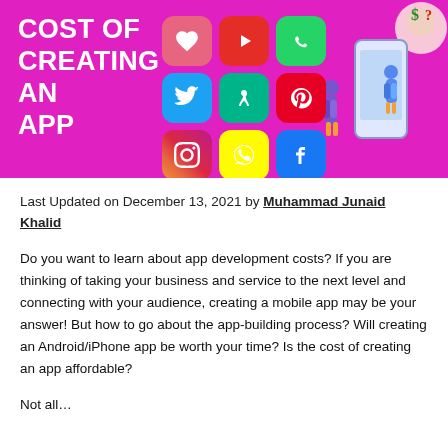[Figure (illustration): Banner image with magenta/pink background showing 'COST OF CREATING AN APP' text on left, a 3x3 grid of social media app icons (Heart/Bubbly, YouTube, WhatsApp, Twitter, Vine, Pinterest, Instagram, Snapchat, Facebook) in center, an illustration of people interacting with a mobile phone on the right, and a person thinking about money in the top-right corner.]
Last Updated on December 13, 2021 by Muhammad Junaid Khalid
Do you want to learn about app development costs? If you are thinking of taking your business and service to the next level and connecting with your audience, creating a mobile app may be your answer! But how to go about the app-building process? Will creating an Android/iPhone app be worth your time? Is the cost of creating an app affordable?
Not all...